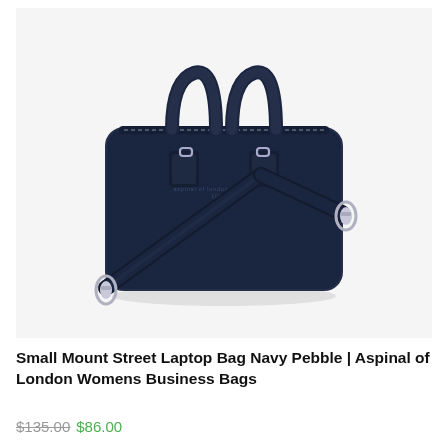[Figure (photo): A navy pebble leather briefcase/laptop bag with two top handles, a removable crossbody strap, silver hardware, and an Aspinal of London logo. The bag is rectangular with rounded corners, a zip top closure, and two D-ring strap attachment points on the front.]
Small Mount Street Laptop Bag Navy Pebble | Aspinal of London Womens Business Bags
$135.00 $86.00